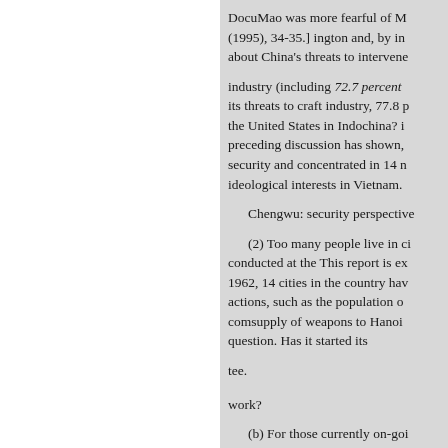DocuMao was more fearful of M (1995), 34-35.] ington and, by i about China's threats to intervene
industry (including 72.7 percent its threats to craft industry, 77.8 p the United States in Indochina? i preceding discussion has shown, security and concentrated in 14 n ideological interests in Vietnam.
Chengwu: security perspective
(2) Too many people live in ci conducted at the This report is ex 1962, 14 cities in the country hav actions, such as the population o comsupply of weapons to Hanoi question. Has it started its
tee.
work?
(b) For those currently on-goi
struction projects in the First Fro